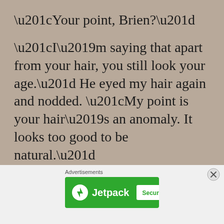“Your point, Brien?”
“I’m saying that apart from your hair, you still look your age.” He eyed my hair again and nodded. “My point is your hair’s an anomaly. It looks too good to be natural.”
[Figure (other): Advertisement banner for Jetpack with green background, Jetpack logo and text, and a white button reading 'Secure Your Site']